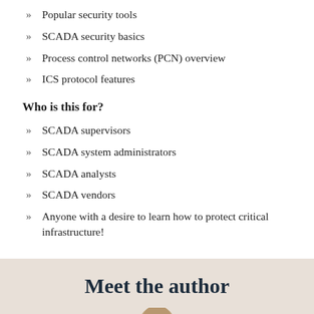Popular security tools
SCADA security basics
Process control networks (PCN) overview
ICS protocol features
Who is this for?
SCADA supervisors
SCADA system administrators
SCADA analysts
SCADA vendors
Anyone with a desire to learn how to protect critical infrastructure!
Meet the author